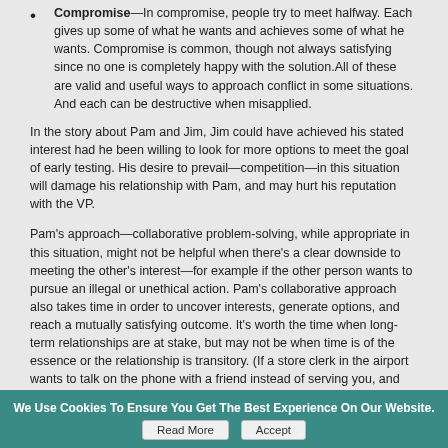Compromise—In compromise, people try to meet halfway. Each gives up some of what he wants and achieves some of what he wants. Compromise is common, though not always satisfying since no one is completely happy with the solution.All of these are valid and useful ways to approach conflict in some situations. And each can be destructive when misapplied.
In the story about Pam and Jim, Jim could have achieved his stated interest had he been willing to look for more options to meet the goal of early testing. His desire to prevail—competition—in this situation will damage his relationship with Pam, and may hurt his reputation with the VP.
Pam's approach—collaborative problem-solving, while appropriate in this situation, might not be helpful when there's a clear downside to meeting the other's interest—for example if the other person wants to pursue an illegal or unethical action. Pam's collaborative approach also takes time in order to uncover interests, generate options, and reach a mutually satisfying outcome. It's worth the time when long-term relationships are at stake, but may not be when time is of the essence or the relationship is transitory. (If a store clerk in the airport wants to talk on the phone with a friend instead of serving you, and you have a plane to catch, you probably won't use a collaborative problem solving approach. You just want to pay for your item and be on your way.)
We Use Cookies To Ensure You Get The Best Experience On Our Website.